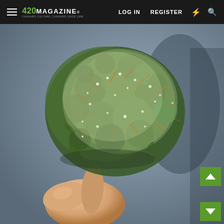420 MAGAZINE® | LOG IN | REGISTER
[Figure (photo): Close-up photograph of a person's hand holding a cannabis bud by its stem against a gray background. The bud is dense, green with white trichomes and orange pistils.]
[Figure (infographic): Green scroll-up button with white chevron arrow, positioned bottom-right]